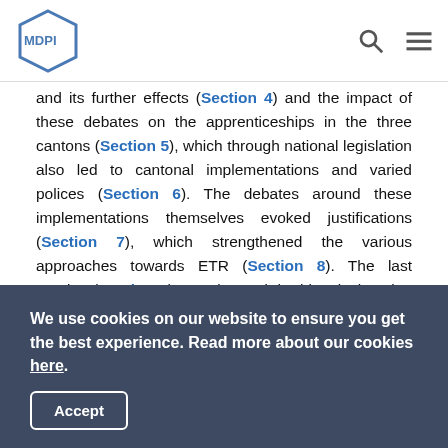MDPI
and its further effects (Section 4) and the impact of these debates on the apprenticeships in the three cantons (Section 5), which through national legislation also led to cantonal implementations and varied polices (Section 6). The debates around these implementations themselves evoked justifications (Section 7), which strengthened the various approaches towards ETR (Section 8). The last Section (Section 9) goes beyond the historical setting in the 1960s and 1970s and discusses further trends, which relate to the topical discourse today.
2. Comparative Approach, Theoretical References, and
We use cookies on our website to ensure you get the best experience. Read more about our cookies here.
Accept